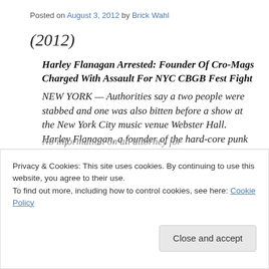Posted on August 3, 2012 by Brick Wahl
(2012)
Harley Flanagan Arrested: Founder Of Cro-Mags Charged With Assault For NYC CBGB Fest Fight
NEW YORK — Authorities say a two people were stabbed and one was also bitten before a show at the New York City music venue Webster Hall. Harley Flanagan, a founder of the hard-core punk
No information on an attorney for
Privacy & Cookies: This site uses cookies. By continuing to use this website, you agree to their use.
To find out more, including how to control cookies, see here: Cookie Policy